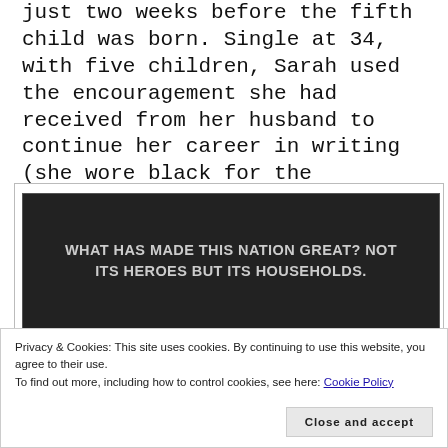just two weeks before the fifth child was born. Single at 34, with five children, Sarah used the encouragement she had received from her husband to continue her career in writing (she wore black for the remainder of her life).
[Figure (other): Dark banner with white bold uppercase text: 'What has made this nation great? Not its heroes but its households.']
Privacy & Cookies: This site uses cookies. By continuing to use this website, you agree to their use.
To find out more, including how to control cookies, see here: Cookie Policy
Close and accept